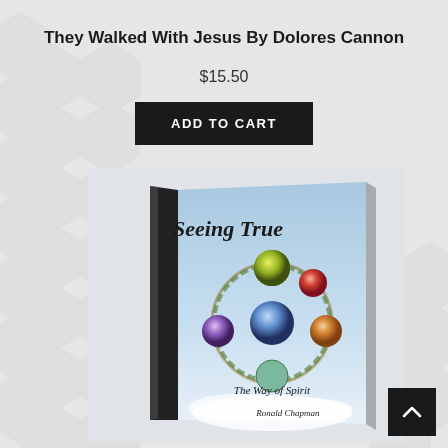They Walked With Jesus By Dolores Cannon
$15.50
ADD TO CART
[Figure (photo): Book cover for 'Seeing True: The Way of Spirit' by Ronald Chapman, showing a circular arrangement of colorful spheres representing different elements, against a light blue sky background. The book is displayed as a physical DVD/book case in a 3D perspective.]